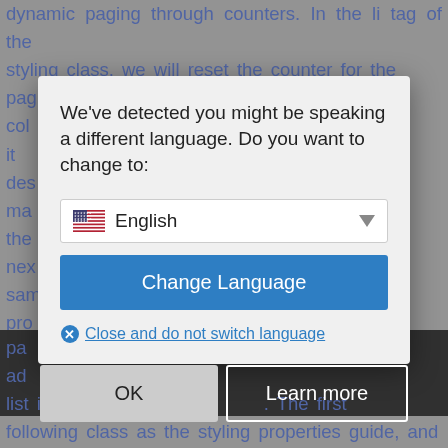dynamic paging through counters. In the li tag of the styling class, we will reset the counter for the page... class collection... make it describe... and manner... and the... the next... the same... ent property... ter. We... the pa... be ad... a list in the list... first li tag will have the close as the styling properties guide, while the last li tag will have the following class as the styling properties guide, and
[Figure (screenshot): A browser language detection modal dialog box overlaid on a webpage. The modal reads: 'We've detected you might be speaking a different language. Do you want to change to:' with an English language dropdown selector showing a US flag, a blue 'Change Language' button, and a 'Close and do not switch language' link with an X icon. Below the modal are 'OK' and 'Learn more' buttons.]